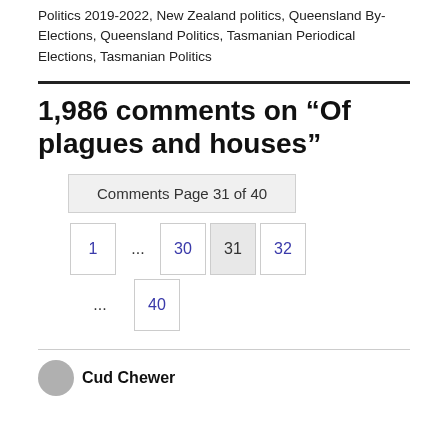Politics 2019-2022, New Zealand politics, Queensland By-Elections, Queensland Politics, Tasmanian Periodical Elections, Tasmanian Politics
1,986 comments on “Of plagues and houses”
Comments Page 31 of 40
1 ... 30 31 32 ... 40
Cud Chewer